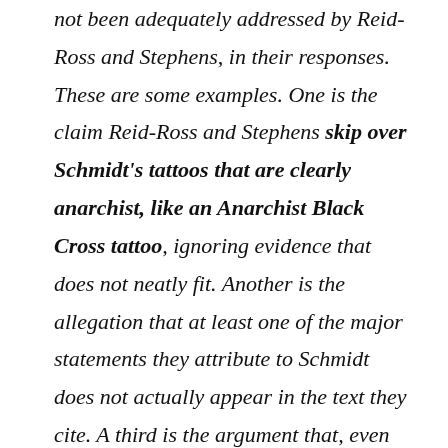not been adequately addressed by Reid-Ross and Stephens, in their responses. These are some examples. One is the claim Reid-Ross and Stephens skip over Schmidt's tattoos that are clearly anarchist, like an Anarchist Black Cross tattoo, ignoring evidence that does not neatly fit. Another is the allegation that at least one of the major statements they attribute to Schmidt does not actually appear in the text they cite. A third is the argument that, even now, they have not engaged with the bulk of what Schmidt